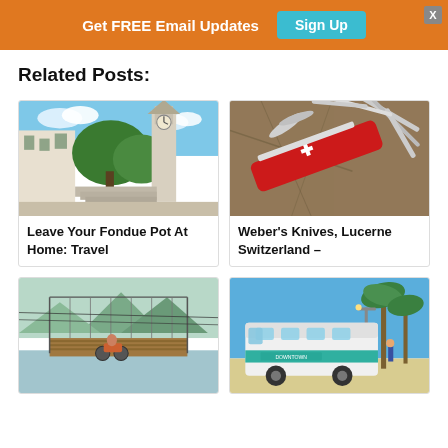Get FREE Email Updates  Sign Up
Related Posts:
[Figure (photo): Church and old buildings in Zurich with a clock tower and stairs]
Leave Your Fondue Pot At Home: Travel
[Figure (photo): Weber's Swiss army knives spread open on a map]
Weber’s Knives, Lucerne Switzerland –
[Figure (photo): Person on motorbike crossing a suspension bridge with mountains in background]
[Figure (photo): Downtown bus near palm trees under blue sky]